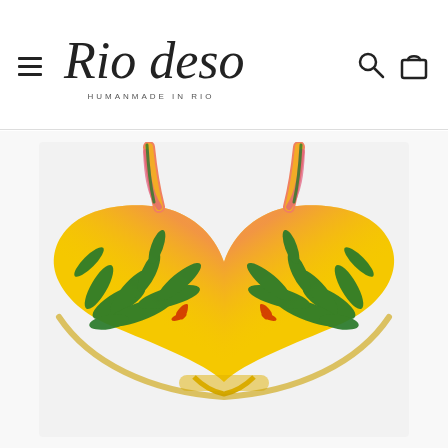Rio de Sol — HUMANMADE IN RIO — navigation header with hamburger menu, search and cart icons
[Figure (photo): A colorful tropical-print bikini top (triangle style) with yellow, green, pink and orange palm leaf pattern on a white background. Brand: Rio de Sol.]